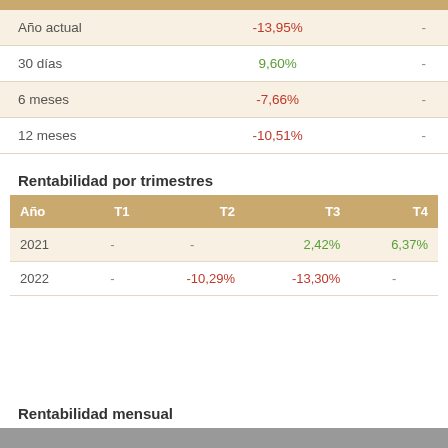|  |  |  |
| --- | --- | --- |
| Año actual | -13,95% | - |
| 30 días | 9,60% | - |
| 6 meses | -7,66% | - |
| 12 meses | -10,51% | - |
Rentabilidad por trimestres
| Año | T1 | T2 | T3 | T4 |
| --- | --- | --- | --- | --- |
| 2021 | - | - | 2,42% | 6,37% |
| 2022 | - | -10,29% | -13,30% | - | - |
Rentabilidad mensual